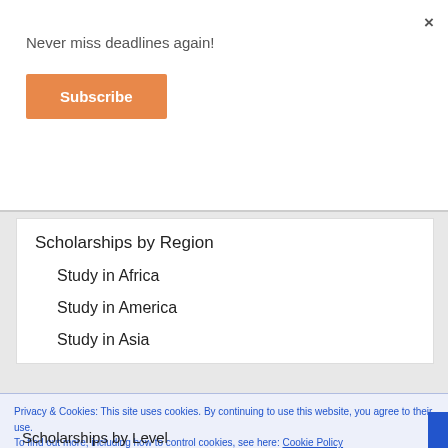×
Never miss deadlines again!
Subscribe
Scholarships by Region
Study in Africa
Study in America
Study in Asia
Privacy & Cookies: This site uses cookies. By continuing to use this website, you agree to their use.
To find out more, including how to control cookies, see here: Cookie Policy
Close and accept
Scholarships by Level